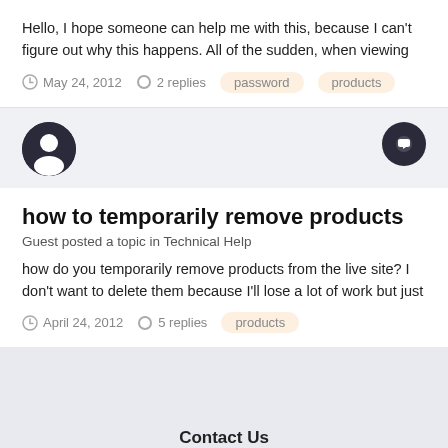Hello, I hope someone can help me with this, because I can't figure out why this happens. All of the sudden, when viewing
May 24, 2012   2 replies   password   products
[Figure (illustration): User avatar icon (dark circle with person silhouette) and chat bubble button]
how to temporarily remove products
Guest posted a topic in Technical Help
how do you temporarily remove products from the live site? I don't want to delete them because I'll lose a lot of work but just
April 24, 2012   5 replies   products
Contact Us
Copyright CubeCart Limited 2022. All rights reserved.